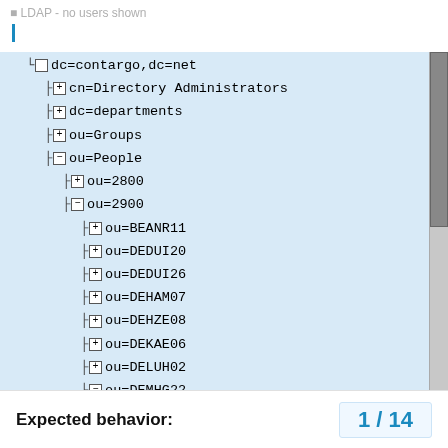LDAP - no users shown
[Figure (screenshot): LDAP directory tree browser showing a tree structure with nodes: dc=contargo,dc=net containing cn=Directory Administrators, dc=departments, ou=Groups, ou=People (expanded), which contains ou=2800, ou=2900 (expanded), which contains ou=BEANR11, ou=DEDUI20, ou=DEDUI26, ou=DEHAM07, ou=DEHZE08, ou=DEKAE06, ou=DELUH02, ou=DEMHG22 (expanded), which contains uid=abelger and partial next item. A scrollbar is visible on the right.]
Expected behavior:
1 / 14